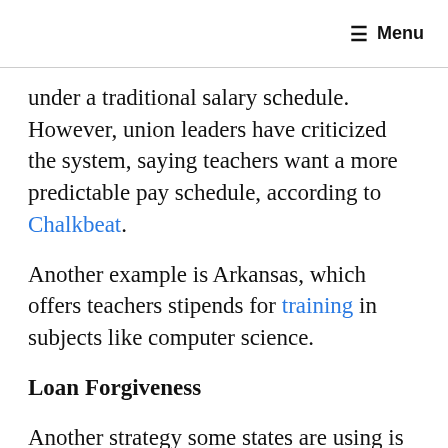≡ Menu
under a traditional salary schedule. However, union leaders have criticized the system, saying teachers want a more predictable pay schedule, according to Chalkbeat.
Another example is Arkansas, which offers teachers stipends for training in subjects like computer science.
Loan Forgiveness
Another strategy some states are using is loan forgiveness programs, which recognize that